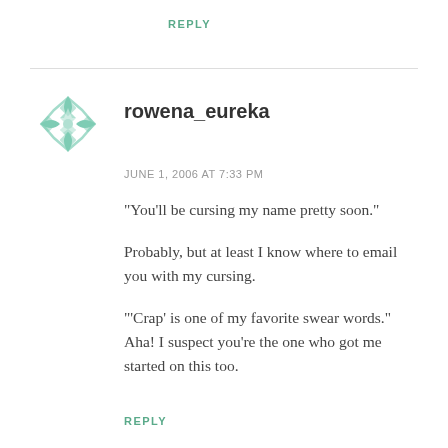REPLY
[Figure (illustration): Teal geometric avatar icon with floral/star pattern]
rowena_eureka
JUNE 1, 2006 AT 7:33 PM
“You’ll be cursing my name pretty soon.”

Probably, but at least I know where to email you with my cursing.

“‘Crap’ is one of my favorite swear words.” Aha! I suspect you’re the one who got me started on this too.
REPLY